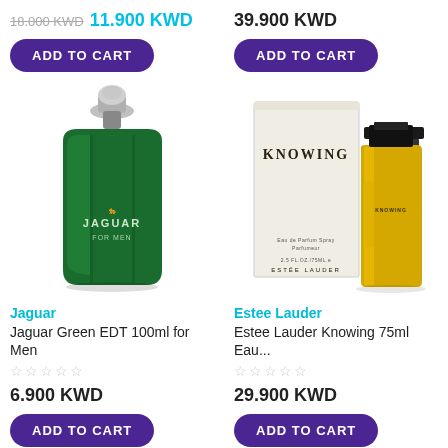18.000 KWD (strikethrough) 11.900 KWD
39.900 KWD
ADD TO CART
ADD TO CART
[Figure (photo): Jaguar Green EDT 100ml for Men cologne bottle, dark green glass with silver cap, Jaguar leaping cat logo]
[Figure (photo): Estee Lauder Knowing 75ml Eau de Parfum, cream box with KNOWING text and golden/yellow glass bottle with black cap]
Jaguar
Estee Lauder
Jaguar Green EDT 100ml for Men
Estee Lauder Knowing 75ml Eau...
☆☆☆☆☆
☆☆☆☆☆
6.900 KWD
29.900 KWD
ADD TO CART
ADD TO CART